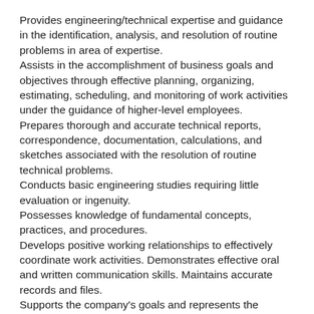Provides engineering/technical expertise and guidance in the identification, analysis, and resolution of routine problems in area of expertise.
Assists in the accomplishment of business goals and objectives through effective planning, organizing, estimating, scheduling, and monitoring of work activities under the guidance of higher-level employees.
Prepares thorough and accurate technical reports, correspondence, documentation, calculations, and sketches associated with the resolution of routine technical problems.
Conducts basic engineering studies requiring little evaluation or ingenuity.
Possesses knowledge of fundamental concepts, practices, and procedures.
Develops positive working relationships to effectively coordinate work activities. Demonstrates effective oral and written communication skills. Maintains accurate records and files.
Supports the company's goals and represents the company positively and professionally.
Basic Qualifications